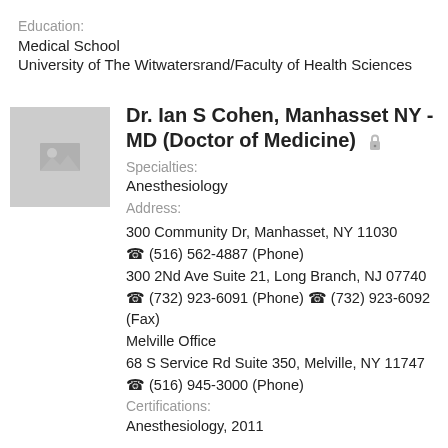Education:
Medical School
University of The Witwatersrand/Faculty of Health Sciences
Dr. Ian S Cohen, Manhasset NY - MD (Doctor of Medicine)
Specialties:
Anesthesiology
Address:
300 Community Dr, Manhasset, NY 11030
(516) 562-4887 (Phone)
300 2Nd Ave Suite 21, Long Branch, NJ 07740
(732) 923-6091 (Phone) (732) 923-6092 (Fax)
Melville Office
68 S Service Rd Suite 350, Melville, NY 11747
(516) 945-3000 (Phone)
Certifications:
Anesthesiology, 2011